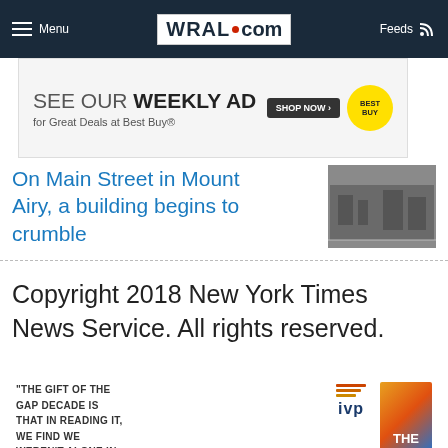Menu | WRAL.com | Feeds
[Figure (screenshot): Best Buy weekly ad banner advertisement]
On Main Street in Mount Airy, a building begins to crumble
[Figure (photo): Photo of a building on Main Street in Mount Airy]
Copyright 2018 New York Times News Service. All rights reserved.
[Figure (infographic): Advertisement with quote: 'THE GIFT OF THE GAP DECADE IS THAT IN READING IT, WE FIND WE WEREN'T ALONE IN THAT FEELING AND THOSE 'IN BETWEEN' YEARS WERE MORE' alongside IVP logo and book cover]